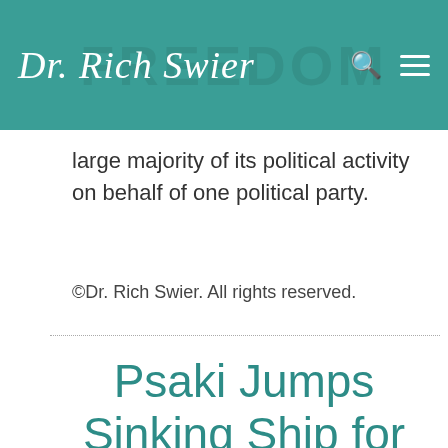Dr. Rich Swier
large majority of its political activity on behalf of one political party.
©Dr. Rich Swier. All rights reserved.
Psaki Jumps Sinking Ship for